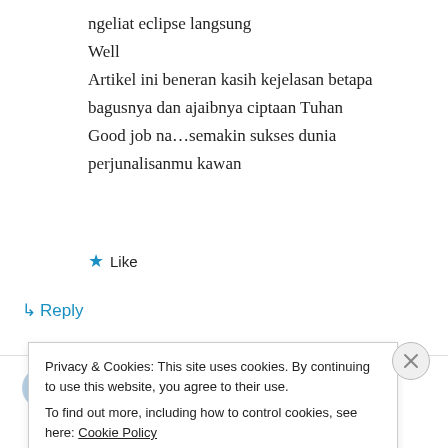ngeliat eclipse langsung
Well
Artikel ini beneran kasih kejelasan betapa bagusnya dan ajaibnya ciptaan Tuhan
Good job na...semakin sukses dunia perjunalisanmu kawan
★ Like
↳ Reply
arievrahman on March 28, 2016 at 12:14 pm
Privacy & Cookies: This site uses cookies. By continuing to use this website, you agree to their use.
To find out more, including how to control cookies, see here: Cookie Policy